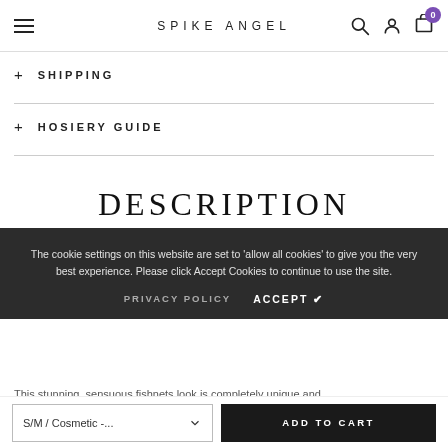SPIKE ANGEL
+ SHIPPING
+ HOSIERY GUIDE
DESCRIPTION
The cookie settings on this website are set to 'allow all cookies' to give you the very best experience. Please click Accept Cookies to continue to use the site.
PRIVACY POLICY   ACCEPT ✔
This stunning, sensuous fishnets look is completely unique and...
S/M / Cosmetic -...   ADD TO CART